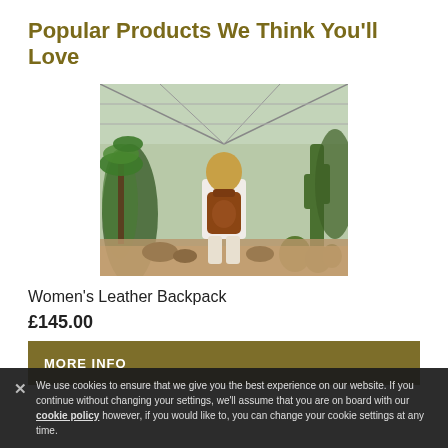Popular Products We Think You'll Love
[Figure (photo): Woman wearing a brown leather backpack walking through a greenhouse botanical garden with tall cacti and tropical plants under a glass roof]
Women's Leather Backpack
£145.00
MORE INFO
We use cookies to ensure that we give you the best experience on our website. If you continue without changing your settings, we'll assume that you are on board with our cookie policy however, if you would like to, you can change your cookie settings at any time.